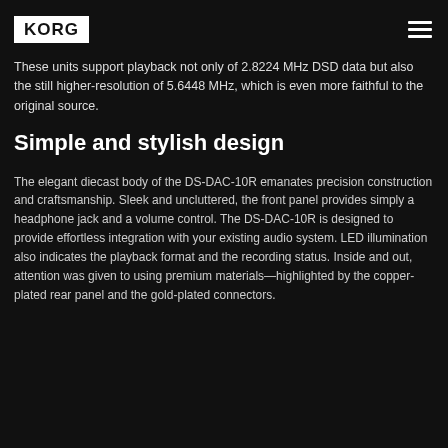KORG
These units support playback not only of 2.8224 MHz DSD data but also the still higher-resolution of 5.6448 MHz, which is even more faithful to the original source.
Simple and stylish design
The elegant diecast body of the DS-DAC-10R emanates precision construction and craftsmanship. Sleek and uncluttered, the front panel provides simply a headphone jack and a volume control. The DS-DAC-10R is designed to provide effortless integration with your existing audio system. LED illumination also indicates the playback format and the recording status. Inside and out, attention was given to using premium materials—highlighted by the copper-plated rear panel and the gold-plated connectors.